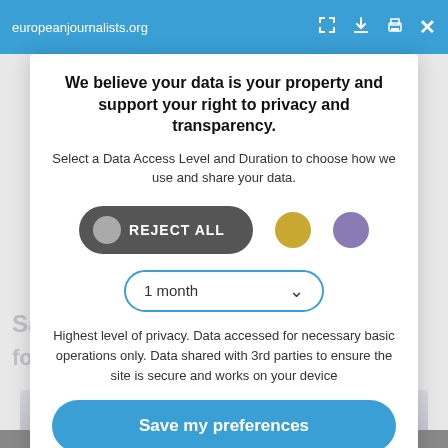europeanjournalists.org
We believe your data is your property and support your right to privacy and transparency.
Select a Data Access Level and Duration to choose how we use and share your data.
REJECT ALL
1 month
Highest level of privacy. Data accessed for necessary basic operations only. Data shared with 3rd parties to ensure the site is secure and works on your device
Save my preferences
Customize
Privacy policy